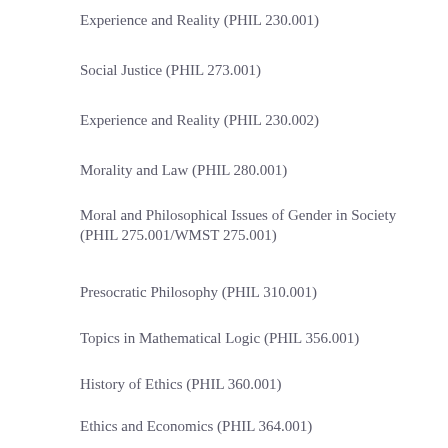Experience and Reality (PHIL 230.001)
Social Justice (PHIL 273.001)
Experience and Reality (PHIL 230.002)
Morality and Law (PHIL 280.001)
Moral and Philosophical Issues of Gender in Society (PHIL 275.001/WMST 275.001)
Presocratic Philosophy (PHIL 310.001)
Topics in Mathematical Logic (PHIL 356.001)
History of Ethics (PHIL 360.001)
Ethics and Economics (PHIL 364.001)
Environmental Ethics (PHIL 368.001/ENST 368.001)
PPE Gateway Course (PHIL 284/POLI 284/ECON 284)